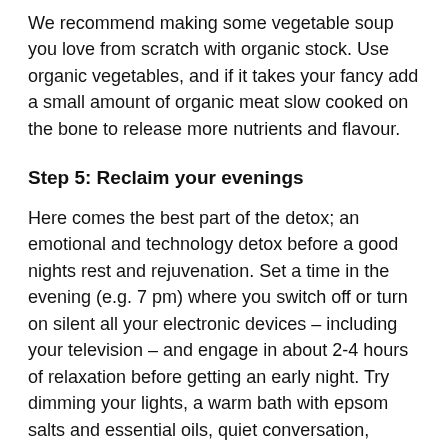We recommend making some vegetable soup you love from scratch with organic stock. Use organic vegetables, and if it takes your fancy add a small amount of organic meat slow cooked on the bone to release more nutrients and flavour.
Step 5: Reclaim your evenings
Here comes the best part of the detox; an emotional and technology detox before a good nights rest and rejuvenation. Set a time in the evening (e.g. 7 pm) where you switch off or turn on silent all your electronic devices – including your television – and engage in about 2-4 hours of relaxation before getting an early night. Try dimming your lights, a warm bath with epsom salts and essential oils, quiet conversation, reading a relaxing book (no eReaders), light yoga, meditation, listening to relaxing music or swapping a massage.